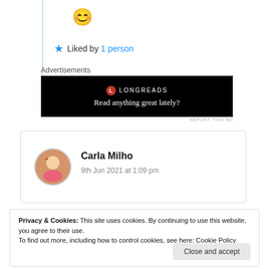[Figure (other): Smiley face emoji (😊) displayed in a blog post comment area]
★ Liked by 1 person
Advertisements
[Figure (other): Longreads advertisement banner with black background, red circle L logo, 'LONGREADS' text, and tagline 'Read anything great lately?']
REPORT THIS AD
Carla Milho
9th Jun 2021 at 1:09 pm
Privacy & Cookies: This site uses cookies. By continuing to use this website, you agree to their use.
To find out more, including how to control cookies, see here: Cookie Policy